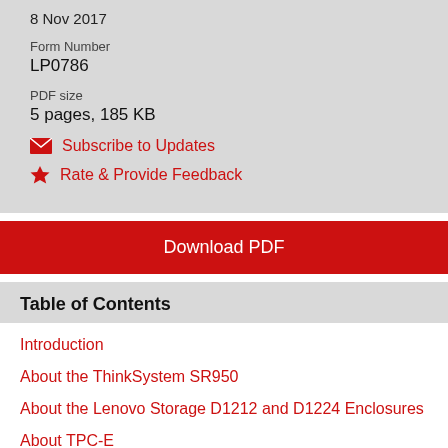8 Nov 2017
Form Number
LP0786
PDF size
5 pages, 185 KB
✉ Subscribe to Updates
★ Rate & Provide Feedback
Download PDF
Table of Contents
Introduction
About the ThinkSystem SR950
About the Lenovo Storage D1212 and D1224 Enclosures
About TPC-E
…